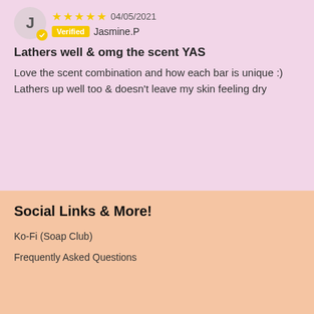04/05/2021
Verified  Jasmine.P
Lathers well & omg the scent YAS
Love the scent combination and how each bar is unique :)
Lathers up well too & doesn't leave my skin feeling dry
Social Links & More!
Ko-Fi (Soap Club)
Frequently Asked Questions